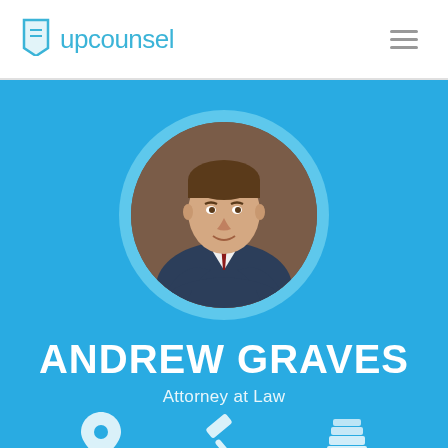upcounsel
[Figure (photo): Circular portrait photo of Andrew Graves, a man in a dark suit with striped tie, arms crossed, smiling, against a brown background]
ANDREW GRAVES
Attorney at Law
[Figure (illustration): Three white icons at the bottom: a location pin, a gavel/scales of justice, and a stack of books]